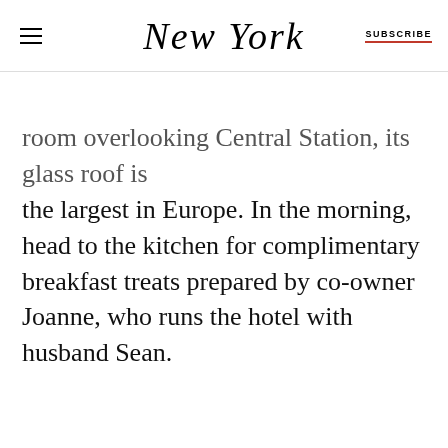New York | SUBSCRIBE
room overlooking Central Station, its glass roof is the largest in Europe. In the morning, head to the kitchen for complimentary breakfast treats prepared by co-owner Joanne, who runs the hotel with husband Sean.